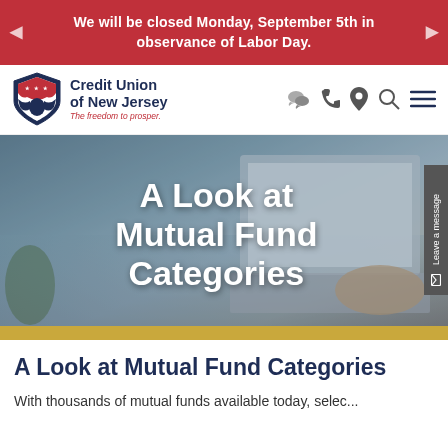We will be closed Monday, September 5th in observance of Labor Day.
[Figure (logo): Credit Union of New Jersey logo with shield emblem and tagline 'The freedom to prosper.']
[Figure (photo): Hero banner photo showing a person typing on a laptop with title 'A Look at Mutual Fund Categories' overlaid in white bold text on a blurred desk/technology background. Gold bar at bottom.]
A Look at Mutual Fund Categories
With thousands of mutual funds available today, selec...